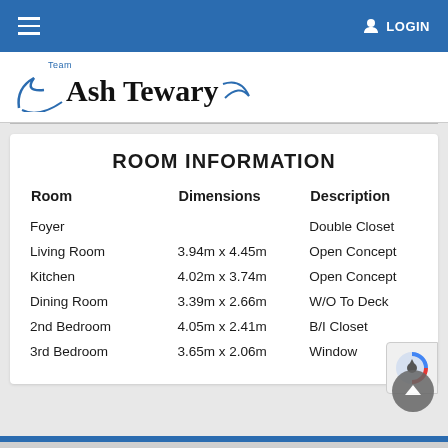LOGIN
[Figure (logo): Team Ash Tewary logo with swoosh design]
ROOM INFORMATION
| Room | Dimensions | Description |
| --- | --- | --- |
| Foyer |  | Double Closet |
| Living Room | 3.94m x 4.45m | Open Concept |
| Kitchen | 4.02m x 3.74m | Open Concept |
| Dining Room | 3.39m x 2.66m | W/O To Deck |
| 2nd Bedroom | 4.05m x 2.41m | B/I Closet |
| 3rd Bedroom | 3.65m x 2.06m | Window |